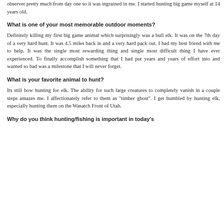observer pretty much from day one so it was ingrained in me. I started hunting big game myself at 14 years old.
What is one of your most memorable outdoor moments?
Definitely killing my first big game animal which surprisingly was a bull elk. It was on the 7th day of a very hard hunt. It was 4.5 miles back in and a very hard pack out. I had my best friend with me to help. It was the single most rewarding thing and single most difficult thing I have ever experienced. To finally accomplish something that I had put years and years of effort into and wanted so bad was a milestone that I will never forget.
What is your favorite animal to hunt?
Its still bow hunting for elk. The ability for such large creatures to completely vanish in a couple steps amazes me. I affectionately refer to them as "timber ghost". I get humbled by hunting elk, especially hunting them on the Wasatch Front of Utah.
Why do you think hunting/fishing is important in today's